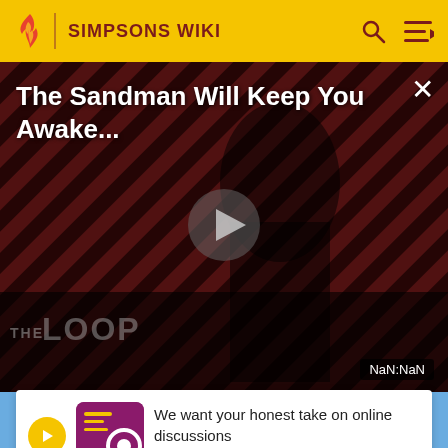SIMPSONS WIKI
[Figure (screenshot): Video player showing 'The Sandman Will Keep You Awake...' with a dark figure on a red striped background, play button in center, 'THE LOOP' text at bottom left, NaN:NaN time display at bottom right, and an X close button]
We want your honest take on online discussions
SURVEY: ONLINE FORUMS